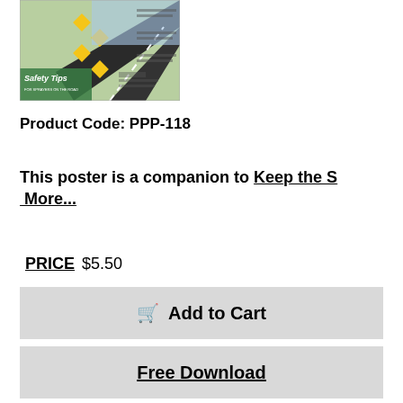[Figure (infographic): Safety Tips for Sprayers on the Road poster thumbnail showing road safety signs and a road graphic]
Product Code: PPP-118
This poster is a companion to Keep the S More...
PRICE $5.50
Add to Cart
Free Download